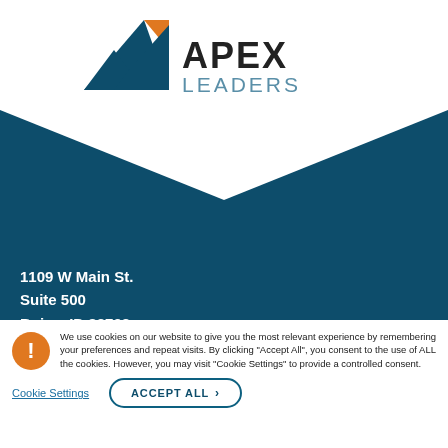[Figure (logo): Apex Leaders logo with triangular mountain icon in dark teal and orange, and bold APEX LEADERS text]
[Figure (illustration): Dark teal banner with white chevron/envelope cutout pointing downward in the center]
1109 W Main St.
Suite 500
Boise, ID 83702
We use cookies on our website to give you the most relevant experience by remembering your preferences and repeat visits. By clicking “Accept All”, you consent to the use of ALL the cookies. However, you may visit "Cookie Settings" to provide a controlled consent.
Cookie Settings
ACCEPT ALL ›